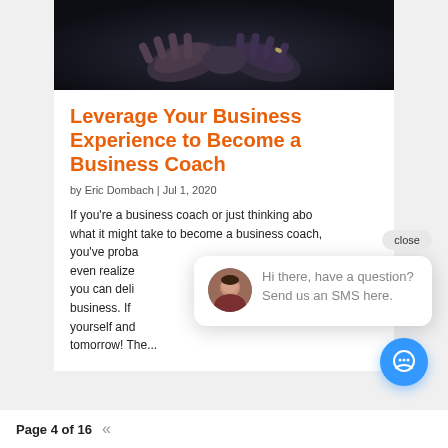[Figure (photo): Dark close-up photo of two people shaking hands in a business setting]
Leverage Your Business Experience to Become a Business Coach
by Eric Dombach | Jul 1, 2020
If you're a business coach or just thinking about what it might take to become a business coach, you've probably even realized you can deliver business. If yourself and tomorrow! The...
[Figure (screenshot): Chat popup with close button and avatar photo of a woman, message reads: Hi there, have a question? Send us an SMS here.]
Page 4 of 16  «